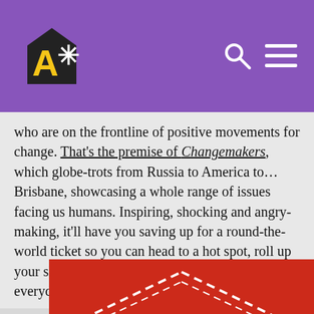A* logo with search and menu icons on purple background
who are on the frontline of positive movements for change. That's the premise of Changemakers, which globe-trots from Russia to America to…Brisbane, showcasing a whole range of issues facing us humans. Inspiring, shocking and angry-making, it'll have you saving up for a round-the-world ticket so you can head to a hot spot, roll up your sleeves and get stuck in alongside these everyday superheroes.
[Figure (logo): Red background with white outlined diamond/house shape and white cursive text reading 'Conversations' partially visible at the bottom]